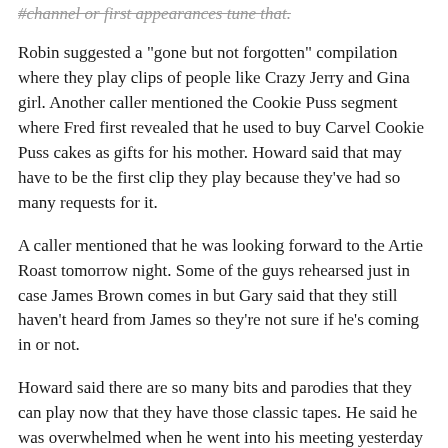...channel or first appearances tune that.
Robin suggested a "gone but not forgotten" compilation where they play clips of people like Crazy Jerry and Gina girl. Another caller mentioned the Cookie Puss segment where Fred first revealed that he used to buy Carvel Cookie Puss cakes as gifts for his mother. Howard said that may have to be the first clip they play because they've had so many requests for it.
A caller mentioned that he was looking forward to the Artie Roast tomorrow night. Some of the guys rehearsed just in case James Brown comes in but Gary said that they still haven't heard from James so they're not sure if he's coming in or not.
Howard said there are so many bits and parodies that they can play now that they have those classic tapes. He said he was overwhelmed when he went into his meeting yesterday about the tapes. He said he has to rely on everyone else to give him ideas and he knows that they'll be able to do it. He said he never would have imagined that they'd have access to those tapes. He's thrilled with what's happened.
A phone caller told Howard that the show keeps getting better every day and this just made it even better. Howard